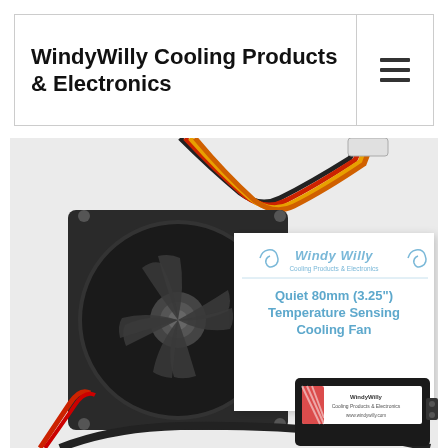WindyWilly Cooling Products & Electronics
[Figure (photo): Product photo showing a 80mm cooling fan with multi-colored connector wires on top, alongside a product box labeled 'Windy Willy Cooling Products & Electronics - Quiet 80mm (3.25") Temperature Sensing Cooling Fan', and below a power adapter/converter device with red connector wires and a WindyWilly branded label]